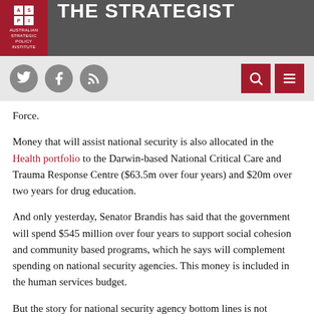THE STRATEGIST
Force.
Money that will assist national security is also allocated in the Health portfolio to the Darwin-based National Critical Care and Trauma Response Centre ($63.5m over four years) and $20m over two years for drug education.
And only yesterday, Senator Brandis has said that the government will spend $545 million over four years to support social cohesion and community based programs, which he says will complement spending on national security agencies. This money is included in the human services budget.
But the story for national security agency bottom lines is not altogether rosy, with many taking cuts:
Australian Federal Police takes a $53m reduction—a four